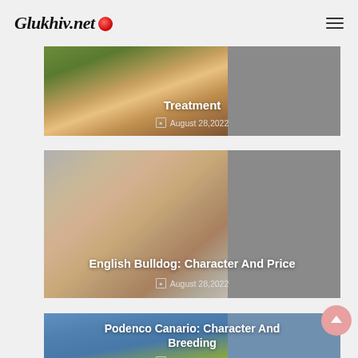Glukhiv.net
[Figure (photo): Partially visible article card showing a cat photo with title ending in 'Treatment' and date August 28,2022]
[Figure (photo): Article card showing an English Bulldog face close-up photo]
English Bulldog: Character And Price
August 28,2022
[Figure (photo): Article card showing a Podenco Canario dog standing in a field]
Podenco Canario: Character And Breeding
August 28,2022